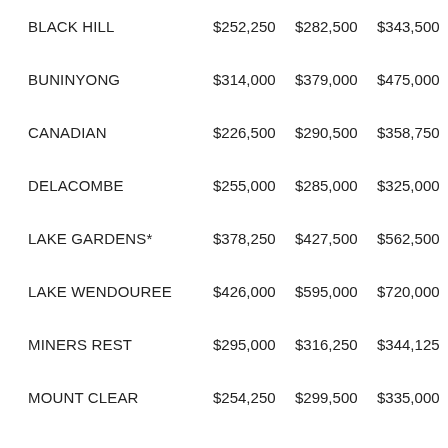| Suburb | Col1 | Col2 | Col3 | Col4 |
| --- | --- | --- | --- | --- |
| BLACK HILL | $252,250 | $282,500 | $343,500 | $28… |
| BUNINYONG | $314,000 | $379,000 | $475,000 | $38… |
| CANADIAN | $226,500 | $290,500 | $358,750 | $28… |
| DELACOMBE | $255,000 | $285,000 | $325,000 | $30… |
| LAKE GARDENS* | $378,250 | $427,500 | $562,500 | $40… |
| LAKE WENDOUREE | $426,000 | $595,000 | $720,000 | $52… |
| MINERS REST | $295,000 | $316,250 | $344,125 | $31… |
| MOUNT CLEAR | $254,250 | $299,500 | $335,000 | $30… |